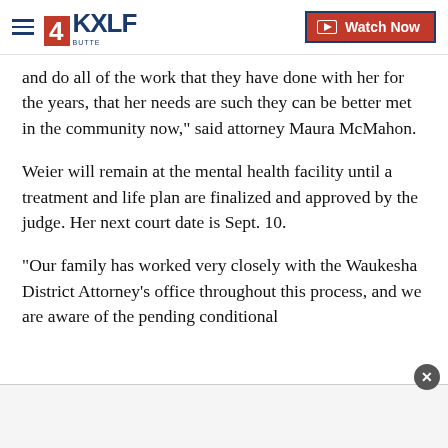4KXLF BUTTE | Watch Now
and do all of the work that they have done with her for the years, that her needs are such they can be better met in the community now," said attorney Maura McMahon.
Weier will remain at the mental health facility until a treatment and life plan are finalized and approved by the judge. Her next court date is Sept. 10.
“Our family has worked very closely with the Waukesha District Attorney’s office throughout this process, and we are aware of the pending conditional